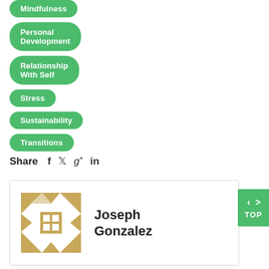Mindfulness
Personal Development
Relationship With Self
Stress
Sustainability
Transitions
Share  f  t  g+  in
[Figure (illustration): Decorative geometric quilt pattern avatar image in gold/tan colors with triangles and squares]
Joseph Gonzalez